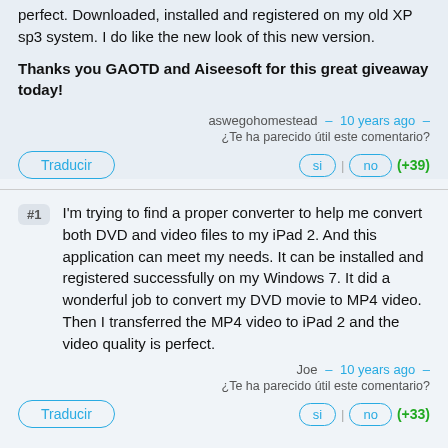perfect. Downloaded, installed and registered on my old XP sp3 system. I do like the new look of this new version.
Thanks you GAOTD and Aiseesoft for this great giveaway today!
aswegohomestead – 10 years ago – ¿Te ha parecido útil este comentario?
Traducir | si | no | (+39)
I'm trying to find a proper converter to help me convert both DVD and video files to my iPad 2. And this application can meet my needs. It can be installed and registered successfully on my Windows 7. It did a wonderful job to convert my DVD movie to MP4 video. Then I transferred the MP4 video to iPad 2 and the video quality is perfect.
Joe – 10 years ago – ¿Te ha parecido útil este comentario?
Traducir | si | no | (+33)